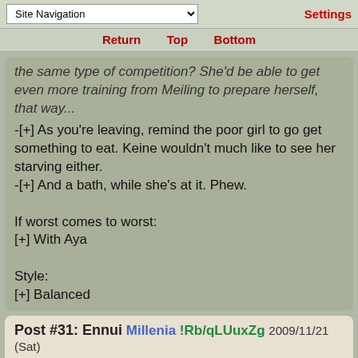Site Navigation | Settings
Return  Top  Bottom
the same type of competition? She'd be able to get even more training from Meiling to prepare herself, that way...
-[+] As you're leaving, remind the poor girl to go get something to eat. Keine wouldn't much like to see her starving either.
-[+] And a bath, while she's at it. Phew.

If worst comes to worst:
[+] With Aya

Style:
[+] Balanced
Post #31: Ennui Millenia !Rb/qLUuxZg 2009/11/21 (Sat) 00:58 No. 104545 ▼
File 125876510559.jpg - (150.93KB, 484x499 , c713a5bae3a010f645940644cc104e81.jpg)
I focus on my gaze on the